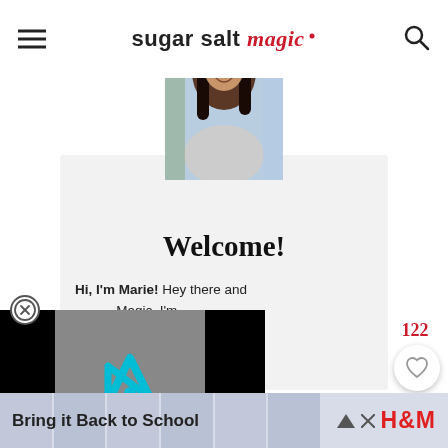sugar salt magic
[Figure (photo): Portrait photo of a woman with long dark hair, smiling, with a light background]
Welcome!
Hi, I'm Marie! Hey there and ... Magic. I'm ... and cook ... delicious ... are with ... nt to give
[Figure (screenshot): Video player overlay with gray background and cyan play button icon (inPlayTV logo)]
122
[Figure (logo): Advertisement banner: Bring it Back to School - H&M]
Bring it Back to School H&M